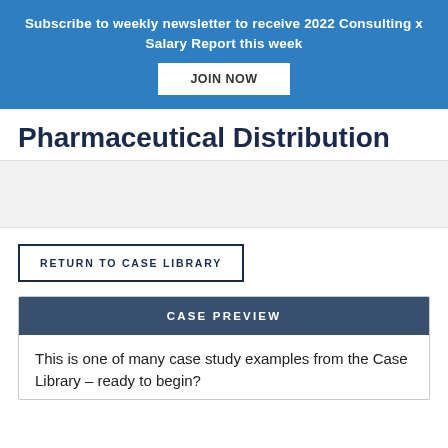Subscribe to weekly newsletter to receive 2022 Consulting x Salary Report this week
JOIN NOW
Pharmaceutical Distribution
RETURN TO CASE LIBRARY
CASE PREVIEW
This is one of many case study examples from the Case Library – ready to begin?